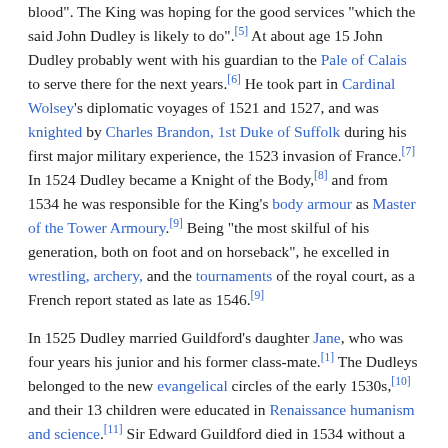blood". The King was hoping for the good services "which the said John Dudley is likely to do".[5] At about age 15 John Dudley probably went with his guardian to the Pale of Calais to serve there for the next years.[6] He took part in Cardinal Wolsey's diplomatic voyages of 1521 and 1527, and was knighted by Charles Brandon, 1st Duke of Suffolk during his first major military experience, the 1523 invasion of France.[7] In 1524 Dudley became a Knight of the Body,[8] and from 1534 he was responsible for the King's body armour as Master of the Tower Armoury.[9] Being "the most skilful of his generation, both on foot and on horseback", he excelled in wrestling, archery, and the tournaments of the royal court, as a French report stated as late as 1546.[9]
In 1525 Dudley married Guildford's daughter Jane, who was four years his junior and his former class-mate.[1] The Dudleys belonged to the new evangelical circles of the early 1530s,[10] and their 13 children were educated in Renaissance humanism and science.[11] Sir Edward Guildford died in 1534 without a written will. His only son having predeceased him, Guildford's nephew, John Guildford, asserted that his uncle had intended him to inherit. Dudley and his wife contested this claim. The parties went to court and Dudley